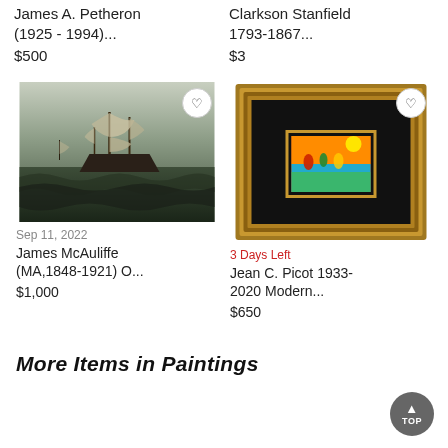James A. Petheron (1925 - 1994)...
$500
Clarkson Stanfield 1793-1867...
$3
[Figure (photo): Painting of a tall ship on rough seas, dark stormy waters, muted green/grey tones]
[Figure (photo): Colorful modern painting in an ornate gold and black frame, small canvas with orange, teal, green colors]
Sep 11, 2022
James McAuliffe (MA,1848-1921) O...
$1,000
3 Days Left
Jean C. Picot 1933-2020 Modern...
$650
More Items in Paintings